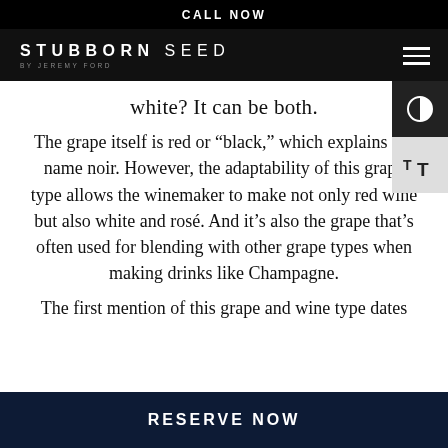CALL NOW
[Figure (logo): Stubborn Seed by Jeremy Ford restaurant logo in white on black background with hamburger menu icon]
white? It can be both.
The grape itself is red or “black,” which explains the name noir. However, the adaptability of this grape type allows the winemaker to make not only red wine but also white and rosé. And it’s also the grape that’s often used for blending with other grape types when making drinks like Champagne.
The first mention of this grape and wine type dates
RESERVE NOW